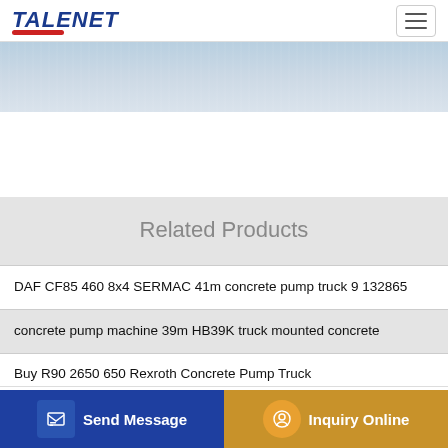TALENET
[Figure (screenshot): Website header with TALENET logo in blue italic bold text with red underline, and hamburger menu icon on the right. Below is a banner area with blue-gray textured background.]
Related Products
DAF CF85 460 8x4 SERMAC 41m concrete pump truck 9 132865
concrete pump machine 39m HB39K truck mounted concrete
Buy R90 2650 650 Rexroth Concrete Pump Truck
B Line Concrete Pumping
Send Message   Inquiry Online